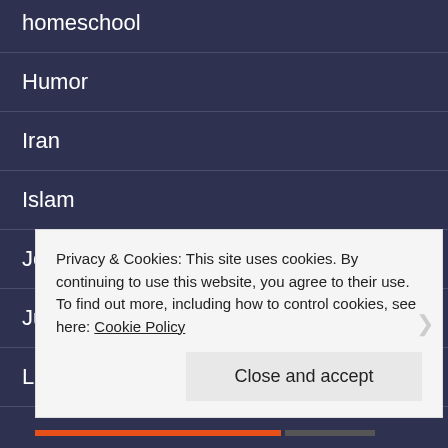homeschool
Humor
Iran
Islam
Jesus
Judaism
Love
Middle East
Ministries
Privacy & Cookies: This site uses cookies. By continuing to use this website, you agree to their use.
To find out more, including how to control cookies, see here: Cookie Policy
Close and accept